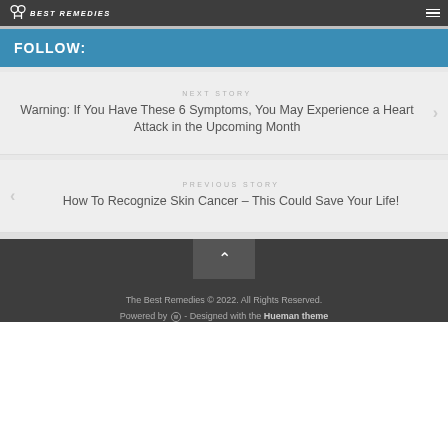BEST REMEDIES
FOLLOW:
NEXT STORY
Warning: If You Have These 6 Symptoms, You May Experience a Heart Attack in the Upcoming Month
PREVIOUS STORY
How To Recognize Skin Cancer – This Could Save Your Life!
The Best Remedies © 2022. All Rights Reserved. Powered by WordPress - Designed with the Hueman theme